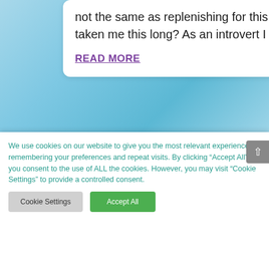not the same as replenishing for this introvert. How has it taken me this long? As an introvert I know...
READ MORE
[Figure (photo): Dark blue-grey banner with a decorative floral teacup/creamer in the center]
We use cookies on our website to give you the most relevant experience by remembering your preferences and repeat visits. By clicking “Accept All”, you consent to the use of ALL the cookies. However, you may visit "Cookie Settings" to provide a controlled consent.
Cookie Settings
Accept All